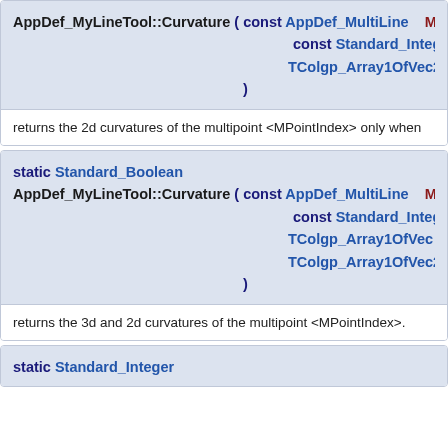AppDef_MyLineTool::Curvature ( const AppDef_MultiLine & ML
    const Standard_Integer  MP
    TColgp_Array1OfVec2d &  tab
)
returns the 2d curvatures of the multipoint <MPointIndex> only when
static Standard_Boolean
AppDef_MyLineTool::Curvature ( const AppDef_MultiLine & ML
    const Standard_Integer  MP
    TColgp_Array1OfVec &  tab
    TColgp_Array1OfVec2d &  tab
)
returns the 3d and 2d curvatures of the multipoint <MPointIndex>.
static Standard_Integer